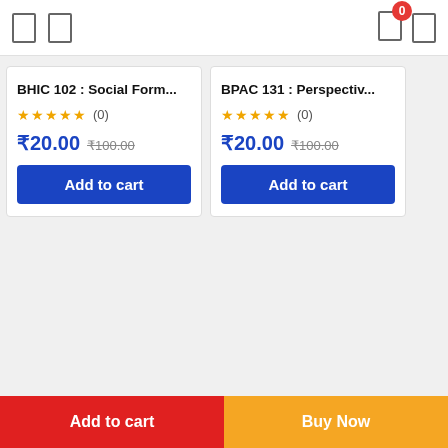Navigation icons with cart badge showing 0
BHIC 102 : Social Form... ☆☆☆☆☆ (0) ₹20.00 ₹100.00 Add to cart
BPAC 131 : Perspectiv... ☆☆☆☆☆ (0) ₹20.00 ₹100.00 Add to cart
Add to cart | Buy Now